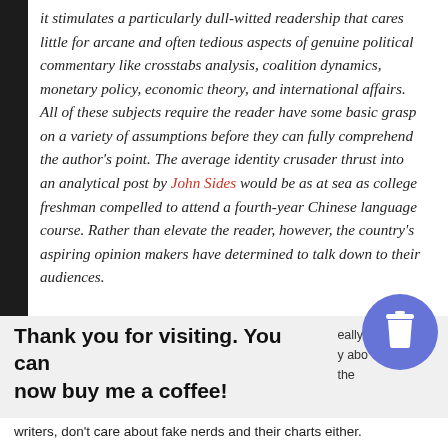it stimulates a particularly dull-witted readership that cares little for arcane and often tedious aspects of genuine political commentary like crosstabs analysis, coalition dynamics, monetary policy, economic theory, and international affairs. All of these subjects require the reader have some basic grasp on a variety of assumptions before they can fully comprehend the author's point. The average identity crusader thrust into an analytical post by John Sides would be as at sea as college freshman compelled to attend a fourth-year Chinese language course. Rather than elevate the reader, however, the country's aspiring opinion makers have determined to talk down to their audiences.
Thank you for visiting. You can now buy me a coffee!
really y abo the
writers, don't care about fake nerds and their charts either.